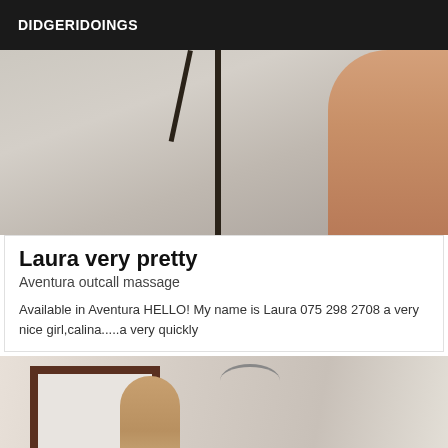DIDGERIDOINGS
[Figure (photo): Partial view of a person in a tiled bathroom with a dark pole/stand visible]
Laura very pretty
Aventura outcall massage
Available in Aventura HELLO! My name is Laura 075 298 2708 a very nice girl,calina.....a very quickly
[Figure (photo): Person with blonde hair viewed from behind in a room with a framed mirror and a hanger on the wall]